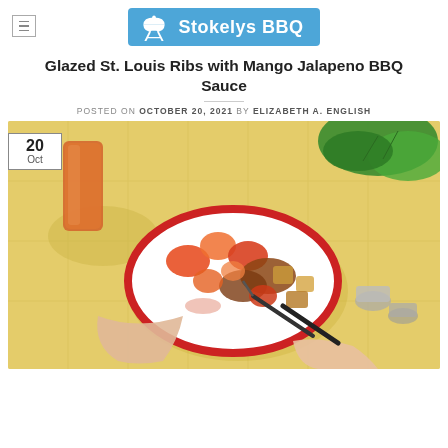Stokelys BBQ
Glazed St. Louis Ribs with Mango Jalapeno BBQ Sauce
POSTED ON OCTOBER 20, 2021 BY ELIZABETH A. ENGLISH
[Figure (photo): Overhead photo of a white plate with red rim containing BBQ ribs and roasted vegetables, being eaten by two hands holding a fork and knife, on a yellow tiled surface with an orange glass of drink and green plant in background. A date badge reading '20 Oct' is overlaid on the top-left of the photo.]